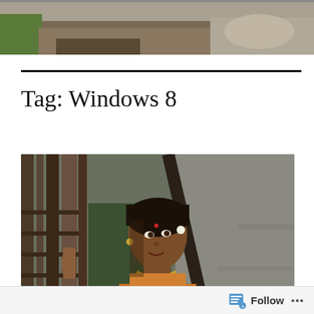[Figure (photo): Outdoor landscape photo showing a dirt path or road with grass and sunlit ground, partial view cropped at top of page]
Tag: Windows 8
[Figure (photo): Portrait photo of a young South Asian woman in traditional attire with gold jewelry, standing near wooden bars/gate, looking sideways with a slight smile]
Follow ...